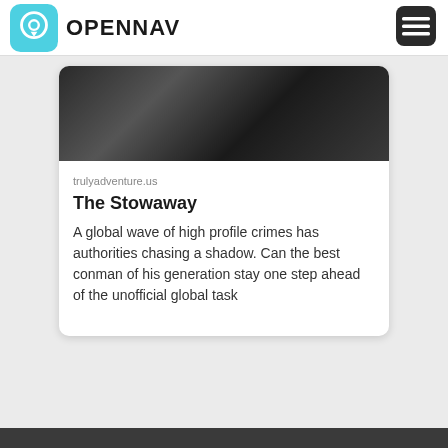OPENNAV
trulyadventure.us
The Stowaway
A global wave of high profile crimes has authorities chasing a shadow. Can the best conman of his generation stay one step ahead of the unofficial global task
[Figure (photo): Dark black and white photo showing blurred background with dark objects, appears to be a dramatic or cinematic scene]